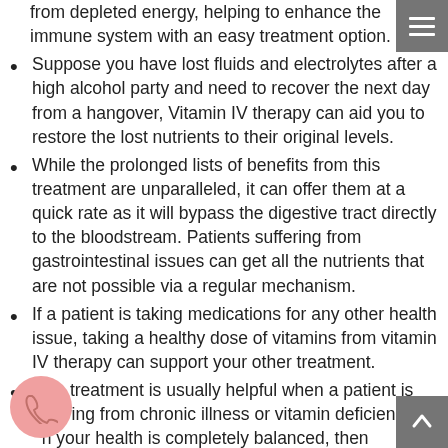from depleted energy, helping to enhance the immune system with an easy treatment option.
Suppose you have lost fluids and electrolytes after a high alcohol party and need to recover the next day from a hangover, Vitamin IV therapy can aid you to restore the lost nutrients to their original levels.
While the prolonged lists of benefits from this treatment are unparalleled, it can offer them at a quick rate as it will bypass the digestive tract directly to the bloodstream. Patients suffering from gastrointestinal issues can get all the nutrients that are not possible via a regular mechanism.
If a patient is taking medications for any other health issue, taking a healthy dose of vitamins from vitamin IV therapy can support your other treatment.
This treatment is usually helpful when a patient is suffering from chronic illness or vitamin deficiency. When your health is completely balanced, then selecting treatments may not offer notable results.